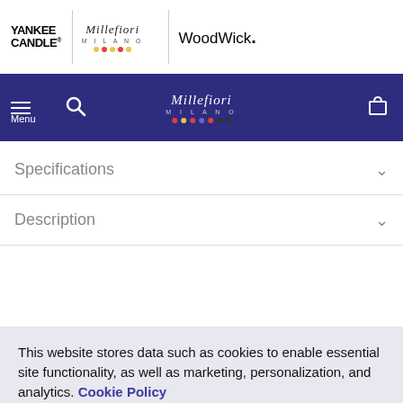[Figure (logo): Yankee Candle, Millefiori Milano, and WoodWick brand logos in white top bar]
Navigation bar with Menu, Search, Millefiori Milano logo, and cart icon on dark blue background
Specifications
Description
This website stores data such as cookies to enable essential site functionality, as well as marketing, personalization, and analytics. Cookie Policy
Accept
Deny